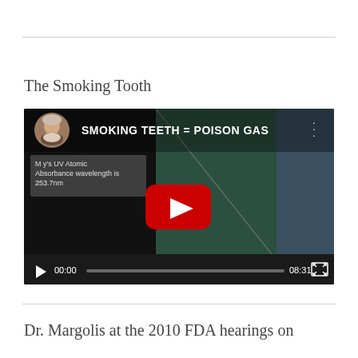The Smoking Tooth
[Figure (screenshot): Embedded YouTube video player showing 'SMOKING TEETH = POISON GAS' video. Thumbnail shows a man with white beard, a dark green/black background with the video title text, a YouTube play button in the center, subtitle text reading "Mercury's UV Atomic Absorbance wavelength is 253.7nm", and video controls showing 00:00 / 08:31 duration.]
Dr. Margolis at the 2010 FDA hearings on